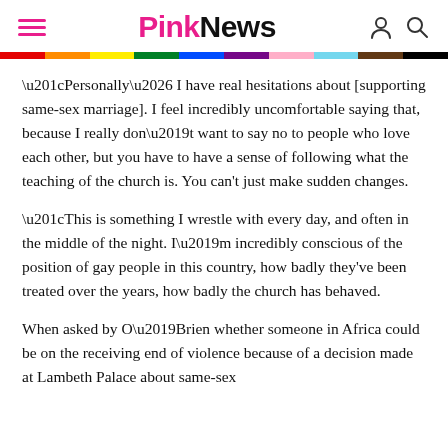PinkNews
“Personally… I have real hesitations about [supporting same-sex marriage]. I feel incredibly uncomfortable saying that, because I really don’t want to say no to people who love each other, but you have to have a sense of following what the teaching of the church is. You can’t just make sudden changes.
“This is something I wrestle with every day, and often in the middle of the night. I’m incredibly conscious of the position of gay people in this country, how badly they’ve been treated over the years, how badly the church has behaved.
When asked by O’Brien whether someone in Africa could be on the receiving end of violence because of a decision made at Lambeth Palace about same-sex marriage, Welby said: “I am not, and I’m absolutely clear about this...